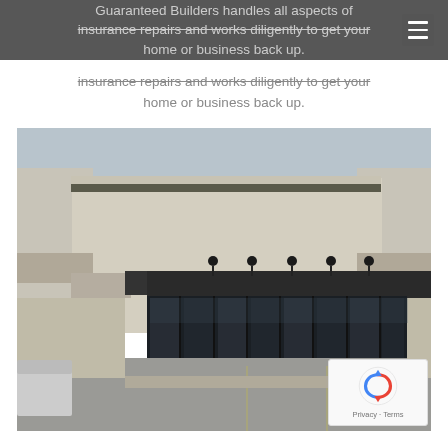Guaranteed Builders handles all aspects of insurance repairs and works diligently to get your home or business back up.
insurance repairs and works diligently to get your home or business back up.
[Figure (photo): Exterior photograph of a commercial building with a modern facade, large glass storefront with dark canopy overhang, stone accent band, parking lot in foreground, overcast sky.]